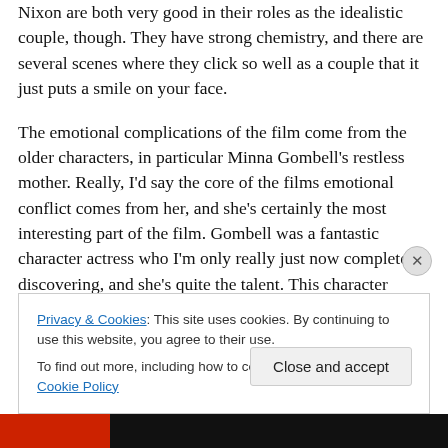Nixon are both very good in their roles as the idealistic couple, though. They have strong chemistry, and there are several scenes where they click so well as a couple that it just puts a smile on your face.
The emotional complications of the film come from the older characters, in particular Minna Gombell's restless mother. Really, I'd say the core of the films emotional conflict comes from her, and she's certainly the most interesting part of the film. Gombell was a fantastic character actress who I'm only really just now completely discovering, and she's quite the talent. This character
Privacy & Cookies: This site uses cookies. By continuing to use this website, you agree to their use.
To find out more, including how to control cookies, see here: Cookie Policy